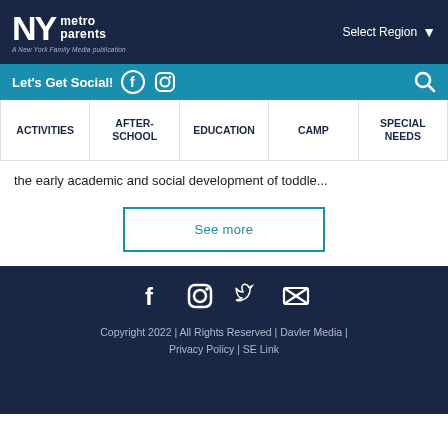NY metro parents — A New York Family Media publication
Select Region
Let's Get Social!
ACTIVITIES | AFTER-SCHOOL | EDUCATION | CAMP | SPECIAL NEEDS
the early academic and social development of toddle...
See more
Copyright 2022 | All Rights Reserved | Davler Media | Privacy Policy | SE Link